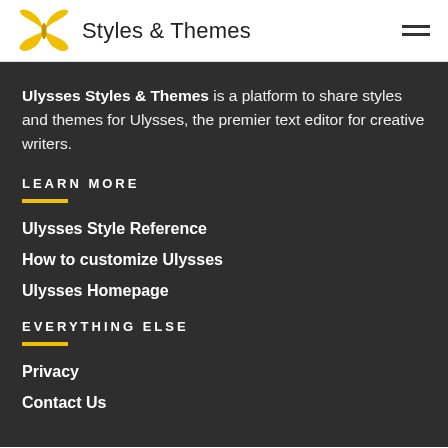Styles & Themes
Ulysses Styles & Themes is a platform to share styles and themes for Ulysses, the premier text editor for creative writers.
LEARN MORE
Ulysses Style Reference
How to customize Ulysses
Ulysses Homepage
EVERYTHING ELSE
Privacy
Contact Us